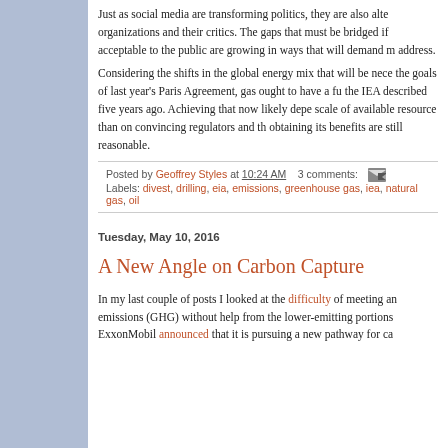Just as social media are transforming politics, they are also alte organizations and their critics. The gaps that must be bridged if acceptable to the public are growing in ways that will demand m address.
Considering the shifts in the global energy mix that will be nece the goals of last year's Paris Agreement, gas ought to have a fu the IEA described five years ago. Achieving that now likely depe scale of available resource than on convincing regulators and th obtaining its benefits are still reasonable.
Posted by Geoffrey Styles at 10:24 AM   3 comments:
Labels: divest, drilling, eia, emissions, greenhouse gas, iea, natural gas, oil
Tuesday, May 10, 2016
A New Angle on Carbon Capture
In my last couple of posts I looked at the difficulty of meeting an emissions (GHG) without help from the lower-emitting portions ExxonMobil announced that it is pursuing a new pathway for ca